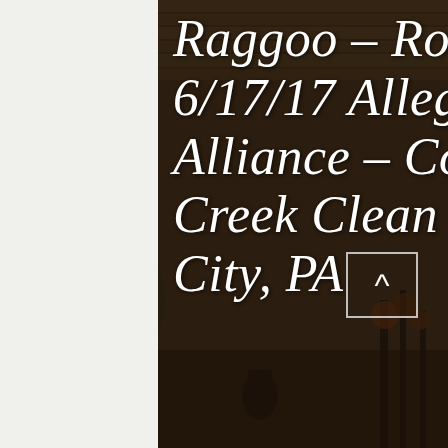[Figure (photo): Outdoor park pavilion with wooden walls and ceiling, stage lighting equipment visible on the right, musicians performing, green trees visible on the left side. Dark semi-transparent overlay covers the center-right portion of the image.]
Raggoo – Rock Falls Park 6/17/17 Allegheny Aquatic Alliance – Connoquenessing Creek Clean Up Party, Evans City, PA